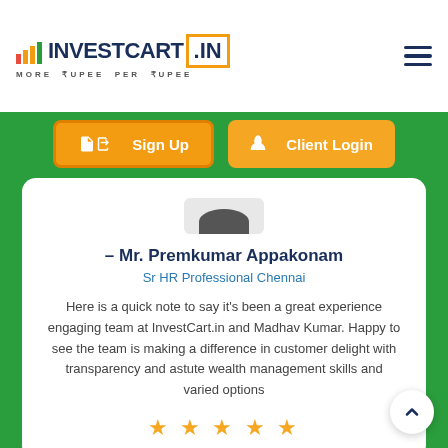[Figure (logo): InvestCart.in logo with bar chart icons and tagline MORE RUPEE PER RUPEE]
[Figure (other): Hamburger menu icon (three horizontal lines)]
[Figure (other): Sign Up button with login icon and Client Login button with flame icon]
[Figure (photo): Profile image placeholder showing top of a person's head]
– Mr. Premkumar Appakonam
Sr HR Professional Chennai
Here is a quick note to say it's been a great experience engaging team at InvestCart.in and Madhav Kumar. Happy to see the team is making a difference in customer delight with transparency and astute wealth management skills and varied options
[Figure (other): 5 star rating shown as orange stars]